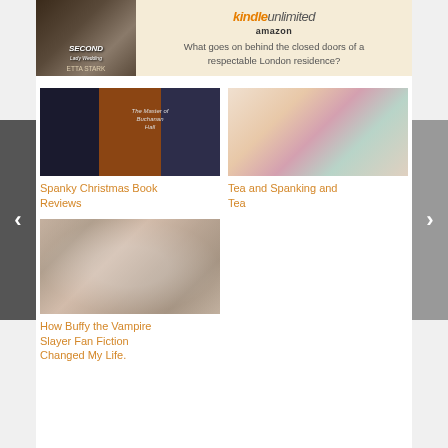[Figure (illustration): Banner advertisement for Kindle Unlimited on Amazon featuring a book cover with 'Second' by Etta Stark and text 'What goes on behind the closed doors of a respectable London residence?']
[Figure (photo): Collage of book covers for Spanky Christmas Book Reviews]
Spanky Christmas Book Reviews
[Figure (photo): Photo of tea cups for Tea and Spanking and Tea post]
Tea and Spanking and Tea
[Figure (photo): Black and white photo of a kissing couple statue for How Buffy the Vampire Slayer Fan Fiction Changed My Life post]
How Buffy the Vampire Slayer Fan Fiction Changed My Life.